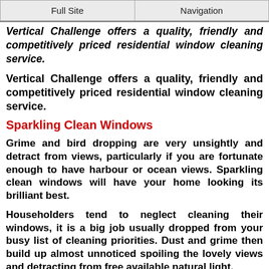Full Site | Navigation
Vertical Challenge offers a quality, friendly and competitively priced residential window cleaning service.
Sparkling Clean Windows
Grime and bird dropping are very unsightly and detract from views, particularly if you are fortunate enough to have harbour or ocean views. Sparkling clean windows will have your home looking its brilliant best.
Householders tend to neglect cleaning their windows, it is a big job usually dropped from your busy list of cleaning priorities. Dust and grime then build up almost unnoticed spoiling the lovely views and detracting from free available natural light.
Once your glass has been professionally